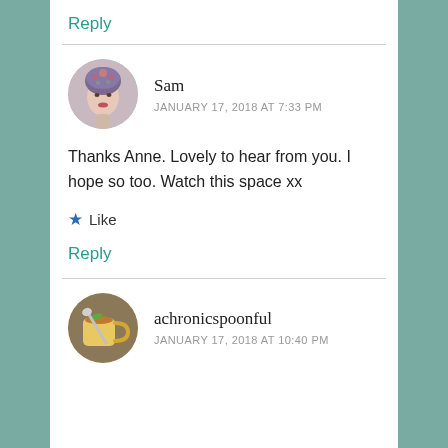Reply
Sam
JANUARY 17, 2018 AT 7:33 PM
Thanks Anne. Lovely to hear from you. I hope so too. Watch this space xx
Like
Reply
achronicspoonful
JANUARY 17, 2018 AT 10:40 PM